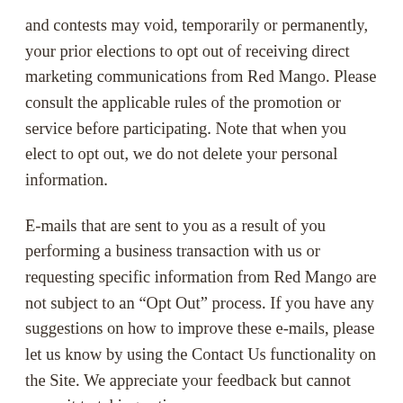and contests may void, temporarily or permanently, your prior elections to opt out of receiving direct marketing communications from Red Mango. Please consult the applicable rules of the promotion or service before participating. Note that when you elect to opt out, we do not delete your personal information.
E-mails that are sent to you as a result of you performing a business transaction with us or requesting specific information from Red Mango are not subject to an “Opt Out” process. If you have any suggestions on how to improve these e-mails, please let us know by using the Contact Us functionality on the Site. We appreciate your feedback but cannot commit to taking action.